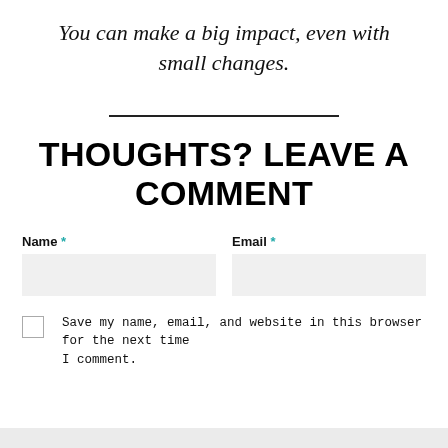You can make a big impact, even with small changes.
THOUGHTS? LEAVE A COMMENT
Name *
Email *
Save my name, email, and website in this browser for the next time I comment.